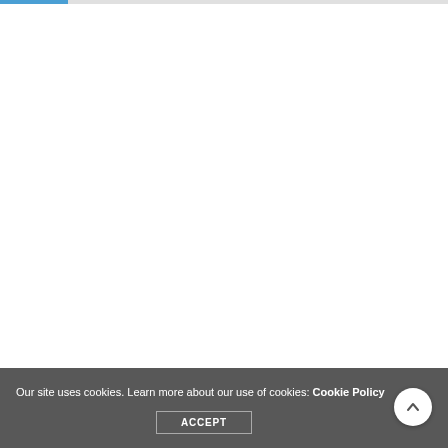Our site uses cookies. Learn more about our use of cookies: Cookie Policy
ACCEPT